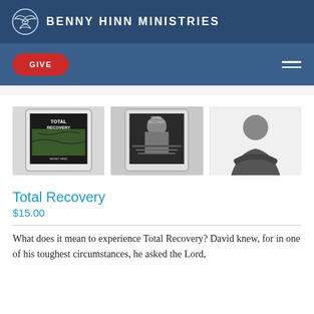BENNY HINN MINISTRIES
GIVE
[Figure (photo): Three product images: two tablet displays showing the Total Recovery book cover and one photo of Benny Hinn with arms crossed]
Total Recovery
$15.00
What does it mean to experience Total Recovery? David knew, for in one of his toughest circumstances, he asked the Lord,